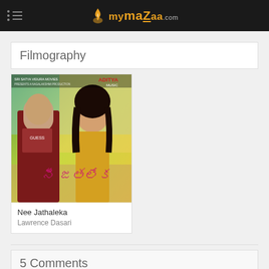mymazaa.com
Filmography
[Figure (photo): Movie poster for Nee Jathaleka featuring a young man in a Guess shirt and a woman in a yellow outfit against a green/yellow background. ADITYA Music logo visible top right. Sri Satya Vidura Movies text at top left.]
Nee Jathaleka
Lawrence Dasari
5 Comments